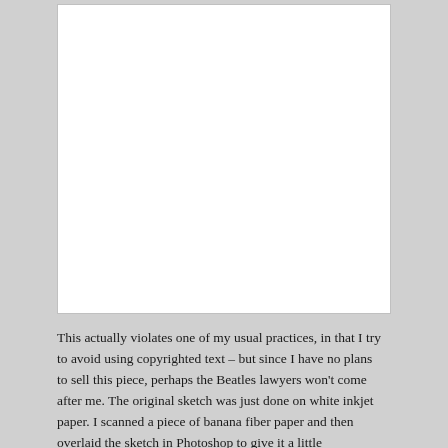[Figure (photo): A large white/blank image area occupying the upper portion of the page, likely a scanned artwork or illustration (blank in this view).]
This actually violates one of my usual practices, in that I try to avoid using copyrighted text – but since I have no plans to sell this piece, perhaps the Beatles lawyers won't come after me. The original sketch was just done on white inkjet paper. I scanned a piece of banana fiber paper and then overlaid the sketch in Photoshop to give it a little